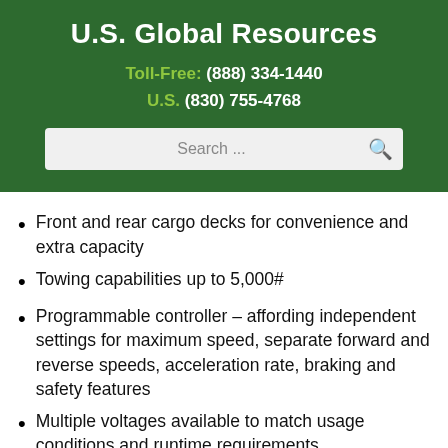U.S. Global Resources
Toll-Free: (888) 334-1440
U.S. (830) 755-4768
Front and rear cargo decks for convenience and extra capacity
Towing capabilities up to 5,000#
Programmable controller – affording independent settings for maximum speed, separate forward and reverse speeds, acceleration rate, braking and safety features
Multiple voltages available to match usage conditions and runtime requirements